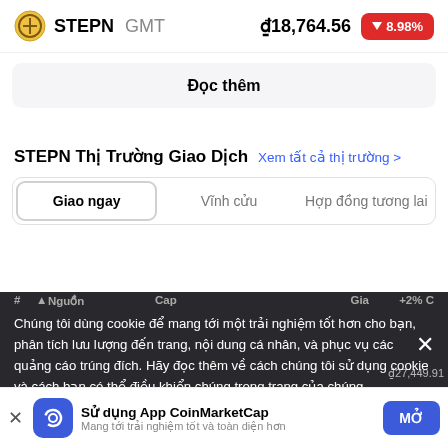STEPN GMT  ₫18,764.56  -8.98%
Đọc thêm
STEPN Thị Trường Giao Dịch  Xem tất cả thị trường >
Giao ngay   Vĩnh cửu   Hợp đồng tương lai
Chúng tôi dùng cookie để mang tới một trải nghiệm tốt hơn cho bạn, phân tích lưu lượng đến trang, nội dung cá nhân, và phục vụ các quảng cáo trúng đích. Hãy đọc thêm về cách chúng tôi sử dụng cookie và cách bạn có thể điều khiển chúng trong trang của chúng
Sử dụng App CoinMarketCap  Mang tới trải nghiệm tốt và toàn diện hơn  MỞ